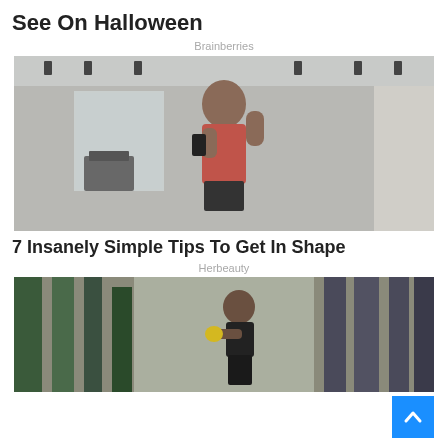See On Halloween
Brainberries
[Figure (photo): A fit woman in a red sports bra taking a mirror selfie at the gym, flexing her arm and smiling]
7 Insanely Simple Tips To Get In Shape
Herbeauty
[Figure (photo): A woman in athletic wear running or exercising in a gym-like setting with green structural elements in background]